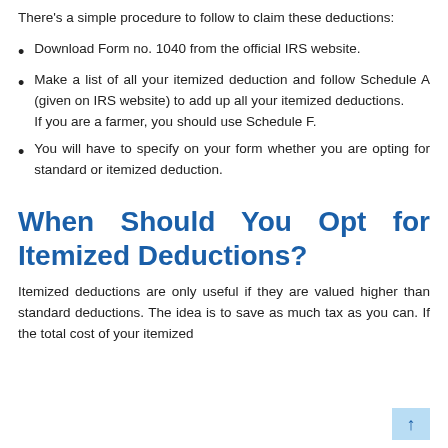There's a simple procedure to follow to claim these deductions:
Download Form no. 1040 from the official IRS website.
Make a list of all your itemized deduction and follow Schedule A (given on IRS website) to add up all your itemized deductions. If you are a farmer, you should use Schedule F.
You will have to specify on your form whether you are opting for standard or itemized deduction.
When Should You Opt for Itemized Deductions?
Itemized deductions are only useful if they are valued higher than standard deductions. The idea is to save as much tax as you can. If the total cost of your itemized